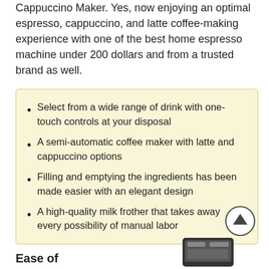Cappuccino Maker. Yes, now enjoying an optimal espresso, cappuccino, and latte coffee-making experience with one of the best home espresso machine under 200 dollars and from a trusted brand as well.
Select from a wide range of drink with one-touch controls at your disposal
A semi-automatic coffee maker with latte and cappuccino options
Filling and emptying the ingredients has been made easier with an elegant design
A high-quality milk frother that takes away every possibility of manual labor
Ease of